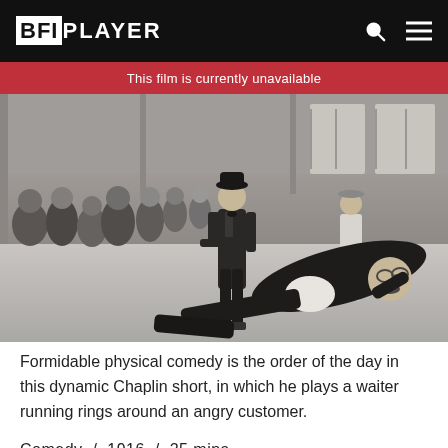BFIPLAYER
This film is currently unavailable
[Figure (photo): Black and white still from a Charlie Chaplin short film showing Chaplin standing on roller skates in a hall with a crowd of onlookers, while another man in formal wear has fallen to the floor at his feet.]
Formidable physical comedy is the order of the day in this dynamic Chaplin short, in which he plays a waiter running rings around an angry customer.
Comedy  /  1916  /  25 mins